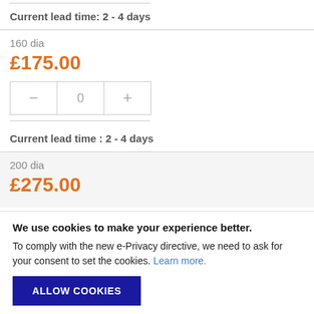Current lead time: 2 - 4 days
160 dia
£175.00
0
Current lead time : 2 - 4 days
200 dia
£275.00
We use cookies to make your experience better.
To comply with the new e-Privacy directive, we need to ask for your consent to set the cookies. Learn more.
ALLOW COOKIES